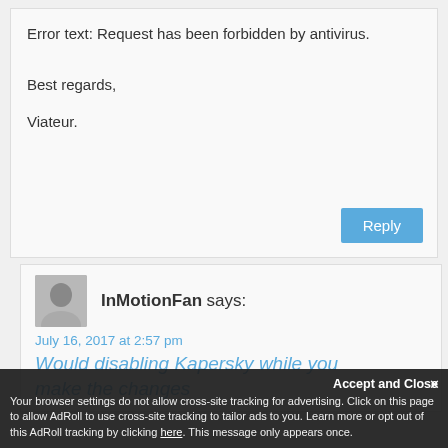Error text: Request has been forbidden by antivirus.

Best regards,

Viateur.
Reply
InMotionFan says:
July 16, 2017 at 2:57 pm
Would disabling Kapersky while you make the changes
Accept and Close
Your browser settings do not allow cross-site tracking for advertising. Click on this page to allow AdRoll to use cross-site tracking to tailor ads to you. Learn more or opt out of this AdRoll tracking by clicking here. This message only appears once.